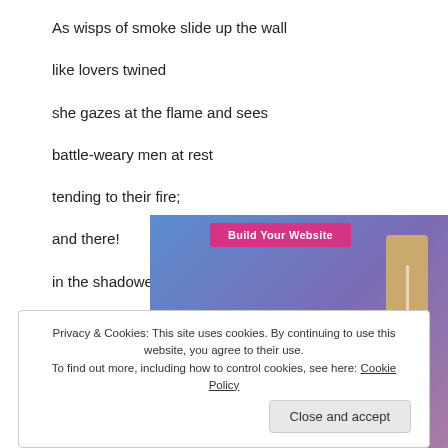As wisps of smoke slide up the wall
like lovers twined
she gazes at the flame and sees
battle-weary men at rest
tending to their fire;
and there!
in the shadowed edge
[Figure (screenshot): Partial screenshot of a website advertisement banner with blue-purple gradient background, a pink 'Build Your Website' button, and a beige/tan rectangular object on the right side. Partially obscured WordPress logo at bottom.]
Privacy & Cookies: This site uses cookies. By continuing to use this website, you agree to their use.
To find out more, including how to control cookies, see here: Cookie Policy
[Close and accept]